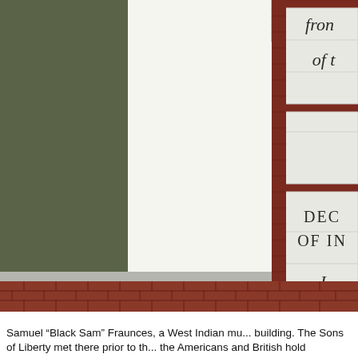[Figure (photo): Partial view of a historic building exterior showing a brick wall with white stone engraved text panels. Visible text fragments include 'from', 'of th', 'DEC', 'OF IN', and 'J'. The left portion shows an olive/dark green painted wall section and white wall area. The right portion shows brick wall with white marble/stone panels bearing partially visible engraved text.]
Samuel “Black Sam” Fraunces, a West Indian mu... building. The Sons of Liberty met there prior to th... the Americans and British hold meetings there to...